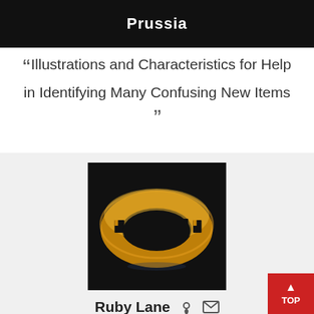Prussia
“Illustrations and Characteristics for Help in Identifying Many Confusing New Items”
[Figure (photo): Gold bangle bracelet with black Greek key pattern cutout design on dark background]
Ruby Lane   location-icon   mail-icon
Comparisons, CA | 🙂 New or Unrated | since 2007